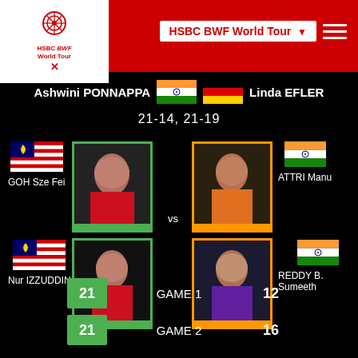[Figure (screenshot): HSBC BWF World Tour app header with logo and hamburger menu]
Ashwini PONNAPPA vs Linda EFLER
21-14, 21-19
GOH Sze Fei
ATTRI Manu
Nur IZZUDDIN
REDDY B. Sumeeth
| Score Left | Game | Score Right |
| --- | --- | --- |
| 21 | GAME 1 | 12 |
| 21 | GAME 2 | 16 |